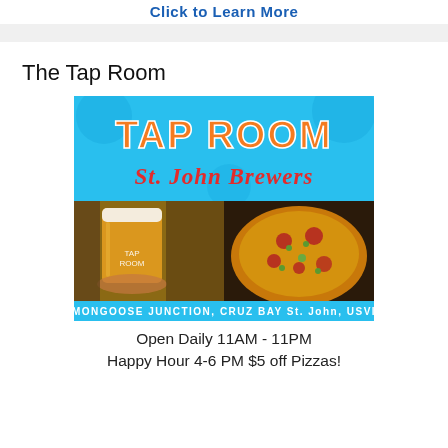Click to Learn More
The Tap Room
[Figure (photo): Advertisement for Tap Room St. John Brewers showing logo on blue background, a pint glass of beer, a pizza, and text 'Mongoose Junction, Cruz Bay St. John, USVI']
Open Daily 11AM - 11PM
Happy Hour 4-6 PM $5 off Pizzas!